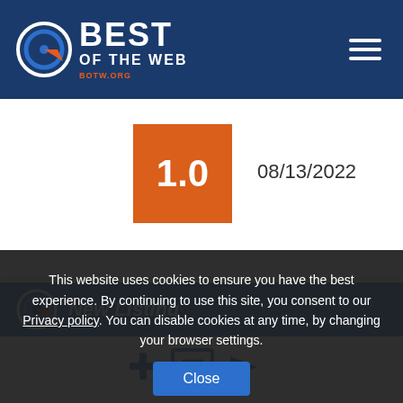[Figure (logo): Best of the Web (BOTW.ORG) logo with circular target icon and hamburger menu icon on dark navy blue header bar]
1.0    08/13/2022
New Listing
[Figure (icon): Blue icons showing a plus sign, a document/form, and an arrow — representing adding a new listing]
This website uses cookies to ensure you have the best experience. By continuing to use this site, you consent to our Privacy policy. You can disable cookies at any time, by changing your browser settings.